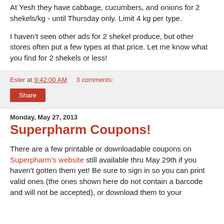At Yesh they have cabbage, cucumbers, and onions for 2 shekels/kg - until Thursday only. Limit 4 kg per type.
I haven't seen other ads for 2 shekel produce, but other stores often put a few types at that price. Let me know what you find for 2 shekels or less!
Ester at 9:42:00 AM    3 comments:
Share
Monday, May 27, 2013
Superpharm Coupons!
There are a few printable or downloadable coupons on Superpharm's website still available thru May 29th if you haven't gotten them yet! Be sure to sign in so you can print valid ones (the ones shown here do not contain a barcode and will not be accepted), or download them to your